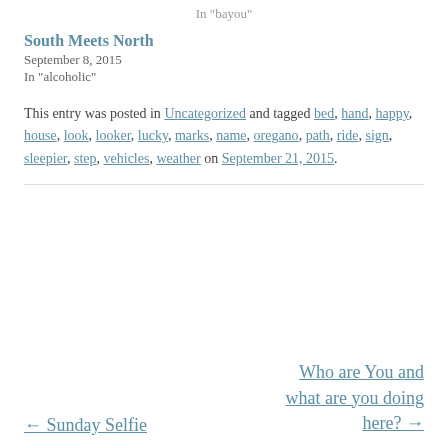In "bayou"
South Meets North
September 8, 2015
In "alcoholic"
This entry was posted in Uncategorized and tagged bed, hand, happy, house, look, looker, lucky, marks, name, oregano, path, ride, sign, sleepier, step, vehicles, weather on September 21, 2015.
← Sunday Selfie
Who are You and what are you doing here? →